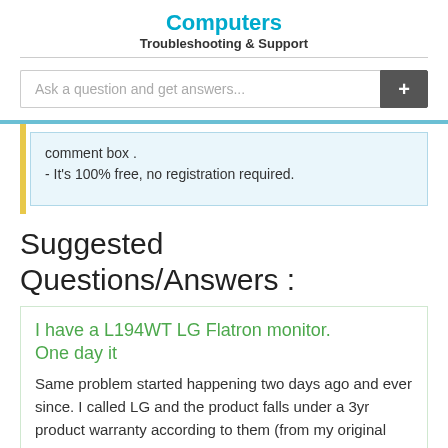Computers
Troubleshooting & Support
Ask a question and get answers...
comment box .
- It's 100% free, no registration required.
Suggested Questions/Answers :
I have a L194WT LG Flatron monitor. One day it
Same problem started happening two days ago and ever since. I called LG and the product falls under a 3yr product warranty according to them (from my original purchase date of January 20, 2007). They will send packing slips to me so I can send the de